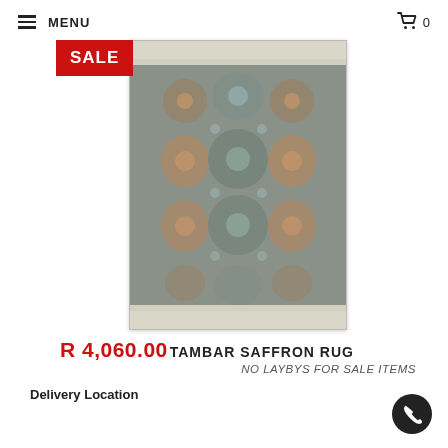MENU  🛒 0
[Figure (photo): A rectangular ornate rug with traditional floral and medallion pattern in grey, rust, and light blue tones, with a SALE badge overlay in red.]
R 4,060.00 TAMBAR SAFFRON RUG
NO LAYBYS FOR SALE ITEMS
Delivery Location